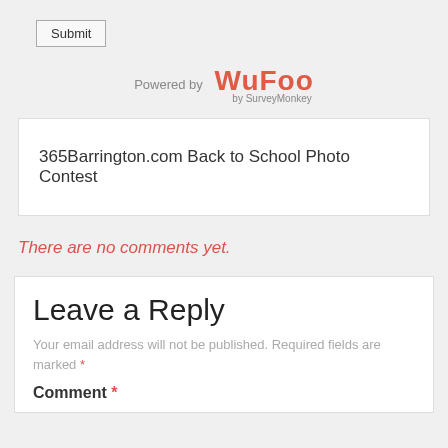Submit
[Figure (logo): Wufoo by SurveyMonkey logo with 'Powered by' text]
365Barrington.com Back to School Photo Contest
There are no comments yet.
Leave a Reply
Your email address will not be published. Required fields are marked *
Comment *